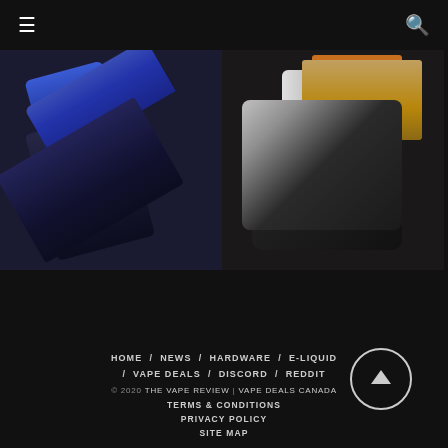≡  🔍
[Figure (photo): Close-up photo of a blue vape pod device on dark gray background]
[Figure (photo): Close-up photo of a black and orange Aegis vape mod device on dark gray background]
HOME / NEWS / HARDWARE / E-LIQUID / VAPE DEALS / DISCORD / REDDIT
© 2020 THE VAPE REVIEW | VAPE DEALS CANADA
TERMS & CONDITIONS
PRIVACY POLICY
SITE MAP